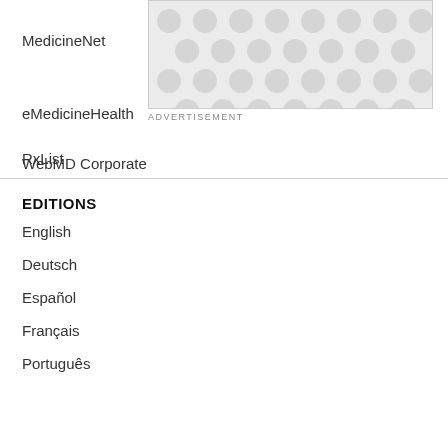MedicineNet
[Figure (other): Advertisement placeholder with grey dot/circle pattern]
ADVERTISEMENT
eMedicineHealth
RxList
WebMD Corporate
EDITIONS
English
Deutsch
Español
Français
Português